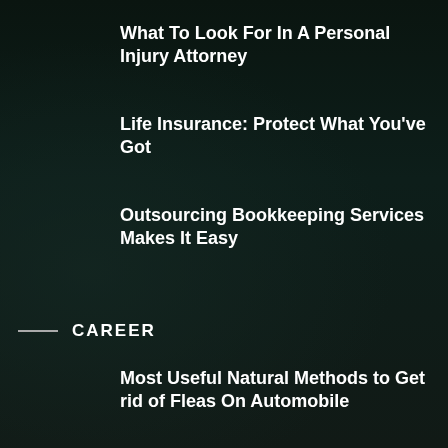What To Look For In A Personal Injury Attorney
Life Insurance: Protect What You've Got
Outsourcing Bookkeeping Services Makes It Easy
CAREER
Most Useful Natural Methods to Get rid of Fleas On Automobile